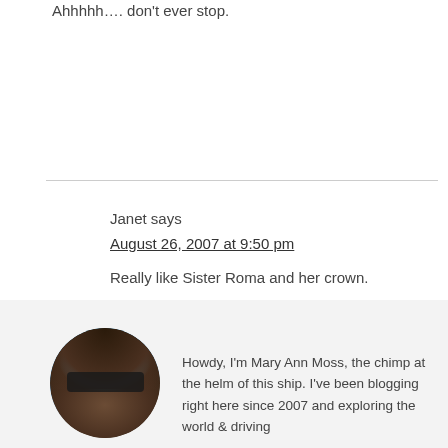Ahhhhh…. don't ever stop.
Janet says
August 26, 2007 at 9:50 pm
Really like Sister Roma and her crown.
Howdy, I'm Mary Ann Moss, the chimp at the helm of this ship. I've been blogging right here since 2007 and exploring the world & driving